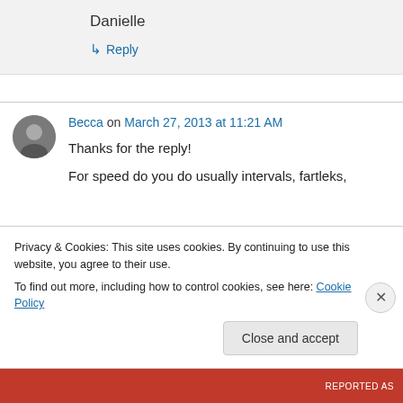Danielle
↳ Reply
Becca on March 27, 2013 at 11:21 AM
Thanks for the reply!
For speed do you do usually intervals, fartleks,
Privacy & Cookies: This site uses cookies. By continuing to use this website, you agree to their use. To find out more, including how to control cookies, see here: Cookie Policy
Close and accept